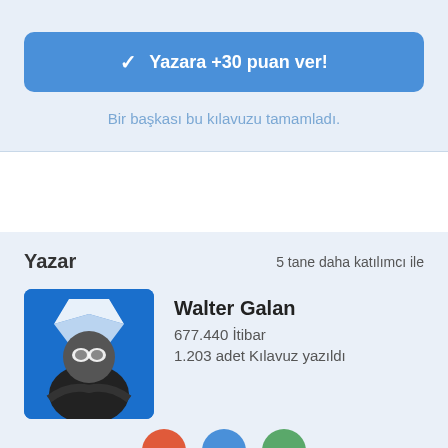Yazara +30 puan ver!
Bir başkası bu kılavuzu tamamladı.
Yazar
5 tane daha katılımcı ile
Walter Galan
677.440 İtibar
1.203 adet Kılavuz yazıldı
[Figure (photo): Profile photo of Walter Galan showing a person in a Spider-Man mask with arms crossed, against a blue background with a logo]